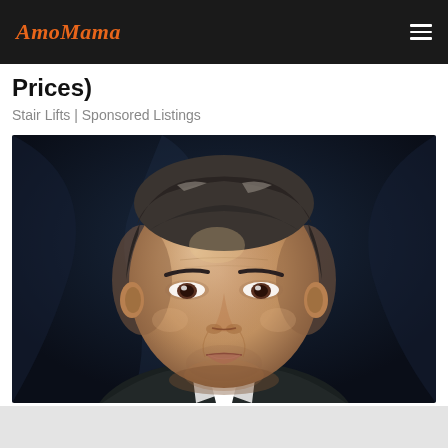AmoMama
Prices)
Stair Lifts | Sponsored Listings
[Figure (photo): Close-up portrait photo of a man with dark salt-and-pepper hair, brown eyes, and a serious expression, wearing a suit with white shirt, dark background.]